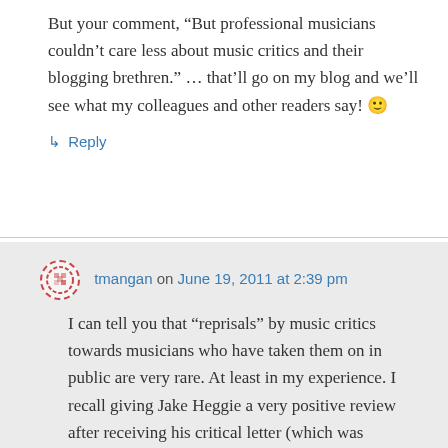But your comment, “But professional musicians couldn’t care less about music critics and their blogging brethren.” … that’ll go on my blog and we’ll see what my colleagues and other readers say! 🙂
↳ Reply
tmangan on June 19, 2011 at 2:39 pm
I can tell you that “reprisals” by music critics towards musicians who have taken them on in public are very rare. At least in my experience. I recall giving Jake Heggie a very positive review after receiving his critical letter (which was published in the paper). Another thing — music critics are